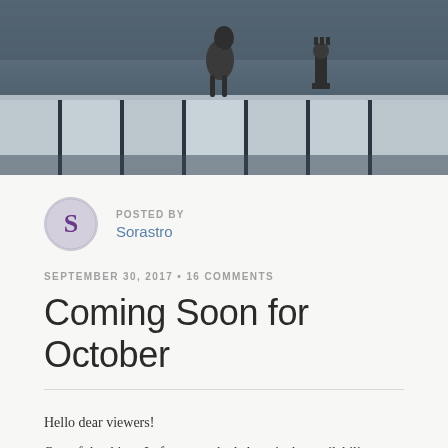[Figure (photo): Header photo showing chess figurines (knight and other pieces) placed on piano keys, shot in close-up with shallow depth of field, monochromatic blue-grey tones]
POSTED BY
Sorastro
SEPTEMBER 30, 2017 • 16 COMMENTS
Coming Soon for October
Hello dear viewers!
One of the things I often get asked about is the availabilit